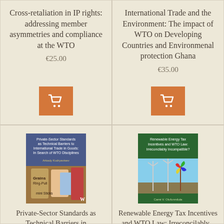Cross-retaliation in IP rights: addressing member asymmetries and compliance at the WTO
€25.00
International Trade and the Environment: The impact of WTO on Developing Countries and Environmenal protection Ghana
€35.00
[Figure (photo): Book cover: Private-Sector Standards as Technical Barriers to International Trade in Goods: In Search of WTO Disciplines by Arkady Kudryavtsev]
Private-Sector Standards as Technical Barriers in International...
[Figure (photo): Book cover: Renewable Energy Tax Incentives and WTO Law: Irreconcilably Incompatible? showing windmills and a colorful pinwheel]
Renewable Energy Tax Incentives and WTO Law: Irreconcilably...